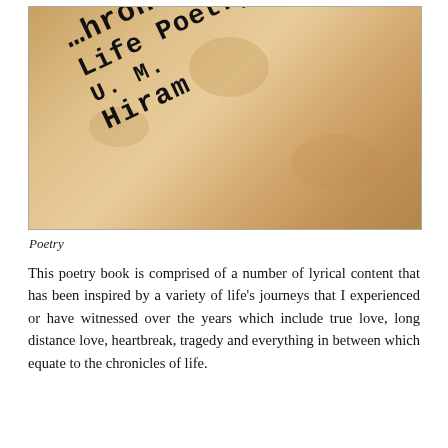[Figure (illustration): Book cover image showing a parchment-textured background with typewriter-style text reading 'Chronicles Life Poetry U. M. Hiram' arranged diagonally across the cover.]
Poetry
This poetry book is comprised of a number of lyrical content that has been inspired by a variety of life's journeys that I experienced or have witnessed over the years which include true love, long distance love, heartbreak, tragedy and everything in between which equate to the chronicles of life.